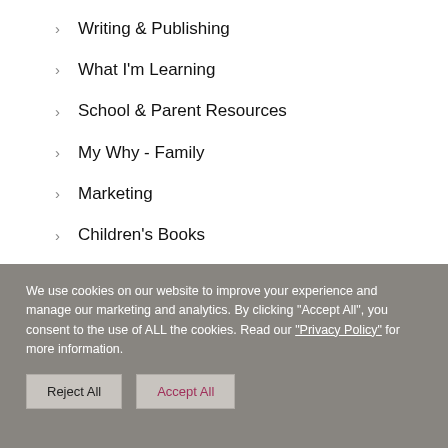Writing & Publishing
What I'm Learning
School & Parent Resources
My Why - Family
Marketing
Children's Books
We use cookies on our website to improve your experience and manage our marketing and analytics. By clicking "Accept All", you consent to the use of ALL the cookies. Read our "Privacy Policy" for more information.
Reject All | Accept All